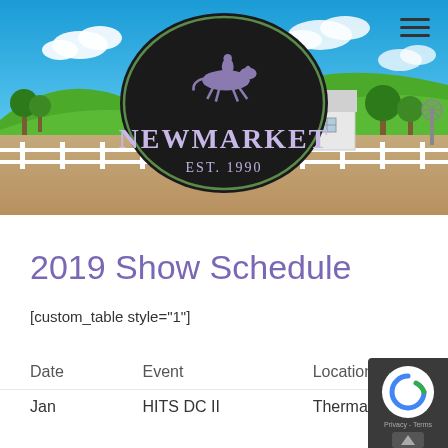[Figure (illustration): Newmarket equestrian farm banner with illustrated countryside scene. Black oval logo with horse and rider jumping, text NEWMARKET EST. 1990. Blue sky with clouds, green rolling hills, white farm building with fence, windmill, and trees in background. Brown ground/dirt area.]
2019 Show Schedule
[custom_table style="1"]
| Date | Event | Location |
| --- | --- | --- |
| Jan | HITS DC II | Thermal, CA |